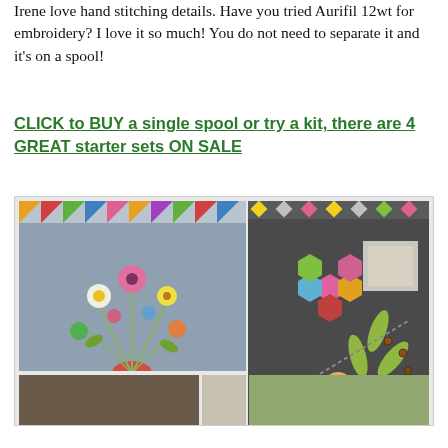Irene love hand stitching details. Have you tried Aurifil 12wt for embroidery? I love it so much! You do not need to separate it and it’s on a spool!
CLICK to BUY a single spool or try a kit, there are 4 GREAT starter sets ON SALE
[Figure (photo): Two quilts with floral and applique designs by Irene Blanck. Left quilt shows colorful flowers on grey background with decorative borders. Right quilt shows hexagon flowers and leaf appliques on dark grey background. Text 'Irene Blanck' in italic script at bottom right. Bottom strip shows three smaller quilt photos.]